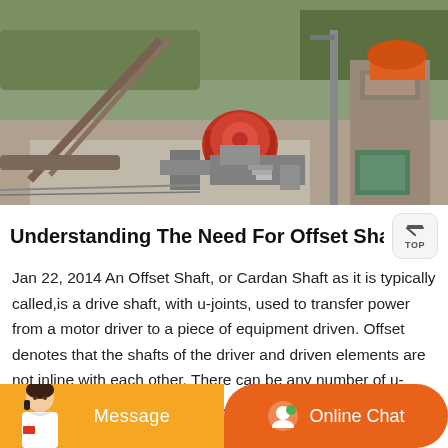[Figure (photo): Aerial view of an industrial quarry or mining site with heavy machinery including jaw crushers, conveyor belts, and processing equipment set among rocky terrain and construction structures.]
Understanding The Need For Offset Shaft Alignm
Jan 22, 2014 An Offset Shaft, or Cardan Shaft as it is typically called,is a drive shaft, with u-joints, used to transfer power from a motor driver to a piece of equipment driven. Offset denotes that the shafts of the driver and driven elements are not inline with each other. There can be any number of u-joints in a drive shaft assemb...